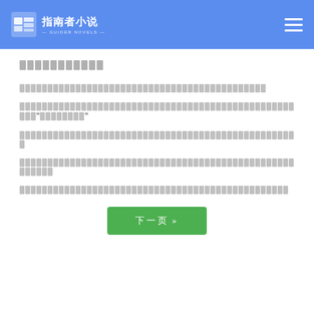指南者小说 — GUIDER NOVELS (header navigation bar)
[redacted title text - approximately 11 Chinese characters]
[redacted paragraph 1 - approximately 44 Chinese characters]
[redacted paragraph 2 - approximately 60+ Chinese characters with quoted text]
[redacted paragraph 3 - approximately 50 Chinese characters]
[redacted paragraph 4 - approximately 55 Chinese characters]
[redacted paragraph 5 - approximately 50 Chinese characters]
下一页 »